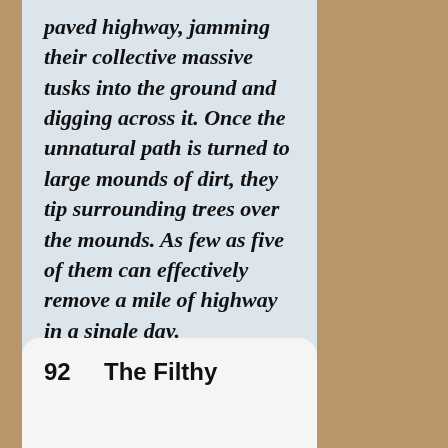paved highway, jamming their collective massive tusks into the ground and digging across it. Once the unnatural path is turned to large mounds of dirt, they tip surrounding trees over the mounds. As few as five of them can effectively remove a mile of highway in a single day.
92   The Filthy